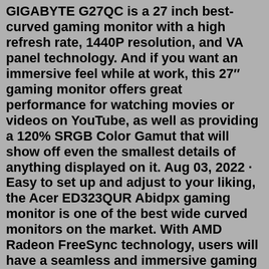GIGABYTE G27QC is a 27 inch best-curved gaming monitor with a high refresh rate, 1440P resolution, and VA panel technology. And if you want an immersive feel while at work, this 27″ gaming monitor offers great performance for watching movies or videos on YouTube, as well as providing a 120% SRGB Color Gamut that will show off even the smallest details of anything displayed on it. Aug 03, 2022 · Easy to set up and adjust to your liking, the Acer ED323QUR Abidpx gaming monitor is one of the best wide curved monitors on the market. With AMD Radeon FreeSync technology, users will have a seamless and immersive gaming experience. Check Price. 19% off. Enhanced Gaming Experience. AMD Freesync ™ Premium technology* results in smooth output, free of tearing and choppiness. Lenovo G27c-10 comes with a high refresh rate of 165 Hz, ensuring images are fluid and move naturally without streaking. Intensify your games with the monitor's 1ms response time with Moving Picture Response Time** (MPRT ... The $1,459 Alienware 38 Curved